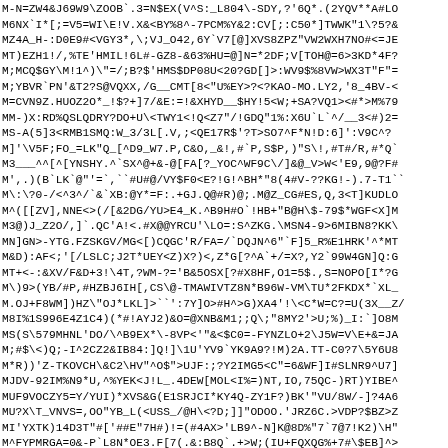M-N=ZW4&J69W9\ZOOB`.3=N$EX(V^S:_L804\-SDY,?'6Q*.(2YQV**A#LO
M6NX`I*[;=V5=WI\E!V.X&<BY%8^-7PCM%Y&2:CV[;:C50*]TWWK"1\?5?&
MZ4A_H-:D0E9#<VGY3*,\;VJ_O42,6Y`V7[@]XVS8ZPZ"VW2WXH7NO#<=JE
MT)EZH1!/,%TE'HMIL!6L#-GZ8-&63%HU=@]N=*2DF;V[TOH@=6>3KD*4F?
M;MCQ$GY\M!1^)\"=/;B?$'HMS$DP08U<20?GD[]>:WV9$%8VW>WX3T"F"=
M;YBVR`PN'&T2?S@VQXX,/G__CMT[8<"U%EY>?<?KAO-MO.LY2,'8_4BV-<
M=CVN9Z.HUOZ2O*_!$?+]7/&E:=!&XHYD__$HY!5<W;+SA?VQ1><#*>M%79
MM-)X:RD%QSLQDRY?DO+U\<TWY1<!Q<Z7"/!GDQ"1%:X6U`L`^/__3<#)2=
MS-A(5]3<RMB1SMQ:W_3/3L[.V,;<QE17R$'?T>SO7^F*N!D:6]':V9C^?
M]'\V5F;FO_=LK"Q_[^D9_W7.P,C&O,_&!,#`P,S$P,)"S\!,#T#/R,#*Q`
M3___^^[^[YNSHY.^`SX^@+&-@[FA[?_YOC^WF9C\/]&@_V>W<'E9,9@?F#
M',.)(B`LK`@"'=`,``#U#@/VY$F0<E?!G!^BH*"8(4#V-??KG!-).7-T1``
M\:\?0-/<^3^/`&`XB:@Y*=F:.+GJ.Q@#R)@;.M@Z_CG#ES,Q,3<T]KUDLO
M^([[ZV],NNE<>(/[&2DG/YU>E4_K.^B9H#O`!HB+"B@H\$-79$*WGF<X]M
M3@)J_Z2O/,]`.QC'A!<.#X@@YRCU'\LO=:S^ZKG.\MSN4-9>6MIBN8?KK\
MN]GN>-YTG.FZSKGV/MG<[)CQGC'R/FA=/`DQJN^6"`F]5_R%E1HRK'^*MT
M&D):AF<;'[/LSLC;J2T*UEY<Z)X?)<,Z*G[?^A`+/=X?,Y2`99W4GN]Q:G
MT+<-:&XV/F&D+3!\4T,?WM-?='B&5OSX[?#X8HF,O1=5$.,S=NOPO[I*?G
M\)9>(YB/#P,#HZBJ6IH[,CS\@-TMAWIVTZ8N*B96W-VM\TU*2FKDX*`XL_
M.OJ+F8WM])HZ\"OJ*LKL]>``':7Y]O>#H^>G)XA4'!\<C*W=C?=U(3X__Z/
M8I%1S996E4Z1C4)(*#!AYJ2)&O=@XNB&M1;;Q\;"8MY2'>U;%)_I:`]O8M
MS(S\579MHNL'DO/\^B9EX*\-8VP<'"&<$C0=-FYNZLO+2\J5W=V\E+&=JA
M;#$\<)Q;-I^2CZ2&IB84:]Q!]\1U'YV9`YK9A9?!M)2A.TT-C0?7\5Y6U8
M*R))'Z-TKOVCH\&C2\HV"^O$">UJF:;?Y2IMG5<C"=6&WF]I#SLNR9^U7]
MJDV-92IM%N9*U,^%YEK<J!L_.4DEW[MOL<I%=)NT,IO,75QC-)RT)YIBE^
MUF9VOCZY5=Y/YUI)*XVS&G(E1SRJCI*KY4Q-ZY1F?)BK'"VU/8W/-]?4A6
MU?X\T_VNVS=,OO"YB_L(<USS_/@H\<?D;]]"ODOO.'JRZ6C.>VDP?$BZ>Z
MI'YXTK)14D3T"#['##E"7H#)!=(#4AX>'LB9^-N]K@8D%"7`7@7!K2)\H"
M^FYPMRGA=0&-P`L8N*OE3.F[7(.&:B8Q`.+>W;(IU+FQXQG%+7#\$EB]^>
MYGC"`J``/X4XUNKM,QN9"_C]#'B\>1A_X)?4V(J#B8(7MW4KKP.:+!ULS
M*ZMX>V<_P,&-KP[^<G)J$J`%^`DP$?(66NO'%@WHA8E^"LZ^E.6G_?-``P
MYRH`>"7VKSU/G'%.#%P9Y-[[57X9.O3FO<5?OL'1P@ZPR5-W4.1DCYU3?9